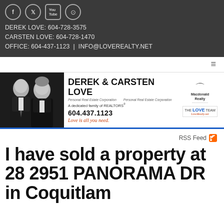DEREK LOVE: 604-728-3575
CARSTEN LOVE: 604-728-1470
OFFICE: 604-437-1123 | INFO@LOVEREALTY.NET
[Figure (logo): Derek & Carsten Love Personal Real Estate banner with photos, phone 604.437.1123, Macdonald Realty logo, The Love Team logo, tagline Love is all you need.]
RSS Feed
I have sold a property at 28 2951 PANORAMA DR in Coquitlam